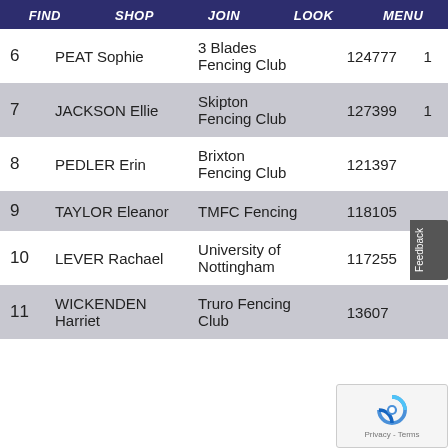FIND  SHOP  JOIN  LOOK  MENU
| # | Name | Club | Score |  |
| --- | --- | --- | --- | --- |
| 6 | PEAT Sophie | 3 Blades Fencing Club | 124777 | 1 |
| 7 | JACKSON Ellie | Skipton Fencing Club | 127399 | 1 |
| 8 | PEDLER Erin | Brixton Fencing Club | 121397 |  |
| 9 | TAYLOR Eleanor | TMFC Fencing | 118105 |  |
| 10 | LEVER Rachael | University of Nottingham | 117255 | 1 |
| 11 | WICKENDEN Harriet | Truro Fencing Club | 13607 |  |